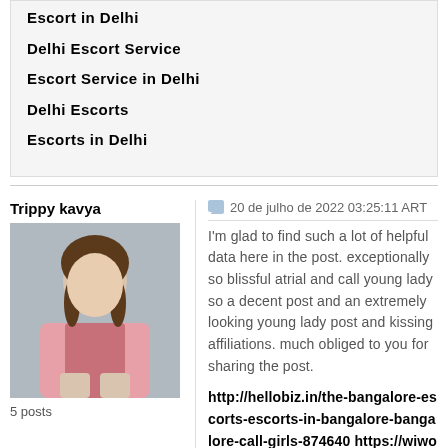Escort in Delhi
Delhi Escort Service
Escort Service in Delhi
Delhi Escorts
Escorts in Delhi
Trippy kavya
20 de julho de 2022 03:25:11 ART
5 posts
I'm glad to find such a lot of helpful data here in the post. exceptionally so blissful atrial and call young lady so a decent post and an extremely looking young lady post and kissing affiliations. much obliged to you for sharing the post.
http://hellobiz.in/the-bangalore-escorts-escorts-in-bangalore-bangalore-call-girls-874640 https://wiwonder.com/read-blog/32296_sexy-bangalore-